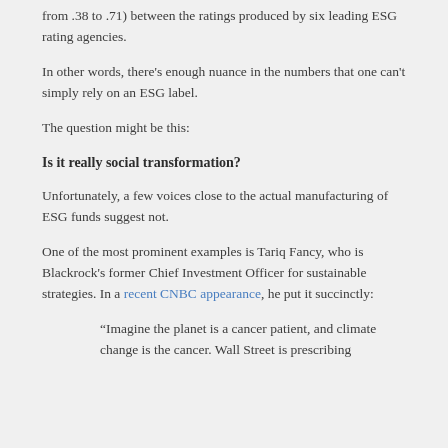from .38 to .71) between the ratings produced by six leading ESG rating agencies.
In other words, there's enough nuance in the numbers that one can't simply rely on an ESG label.
The question might be this:
Is it really social transformation?
Unfortunately, a few voices close to the actual manufacturing of ESG funds suggest not.
One of the most prominent examples is Tariq Fancy, who is Blackrock's former Chief Investment Officer for sustainable strategies. In a recent CNBC appearance, he put it succinctly:
“Imagine the planet is a cancer patient, and climate change is the cancer. Wall Street is prescribing